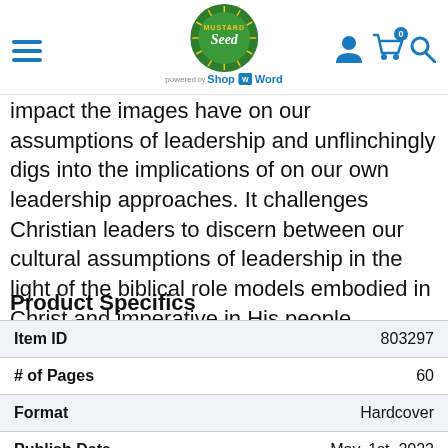Mustard Seed Shop — powered by ShopTheWord
impact the images have on our assumptions of leadership and unflinchingly digs into the implications of on our own leadership approaches. It challenges Christian leaders to discern between our cultural assumptions of leadership in the light of the biblical role models embodied in Christ and imperative in His people.
Product Specifics
|  |  |
| --- | --- |
| Item ID | 803297 |
| # of Pages | 60 |
| Format | Hardcover |
| Publish Date | May. 1st, 2022 |
| ISBN-10 | 1594520000 |